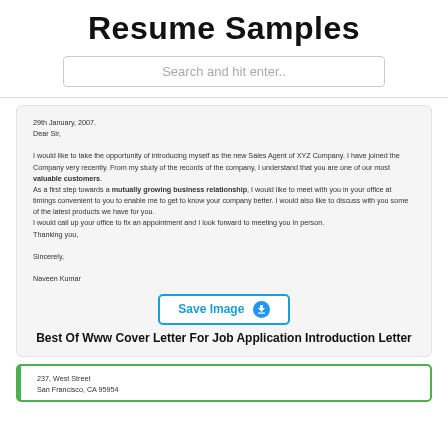Resume Samples
Search and hit enter..
[Figure (screenshot): Cover letter sample dated 29th January, 2007, addressed Dear Sir, with body text about Sales Agent introduction and signed by Naveen Kumar]
Save Image
Best Of Www Cover Letter For Job Application Introduction Letter
[Figure (screenshot): Second cover letter sample showing address: 237, West Street, San Francisco, CA 95954]